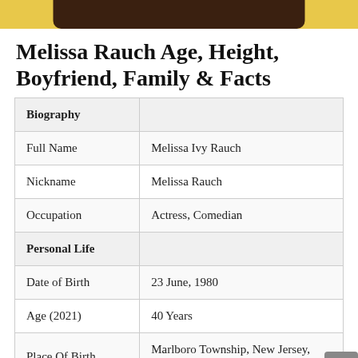[Figure (photo): Top strip showing partial photo of Melissa Rauch in yellow top against light background]
Melissa Rauch Age, Height, Boyfriend, Family & Facts
| Biography |  |
| Full Name | Melissa Ivy Rauch |
| Nickname | Melissa Rauch |
| Occupation | Actress, Comedian |
| Personal Life |  |
| Date of Birth | 23 June, 1980 |
| Age (2021) | 40 Years |
| Place Of Birth | Marlboro Township, New Jersey, United States |